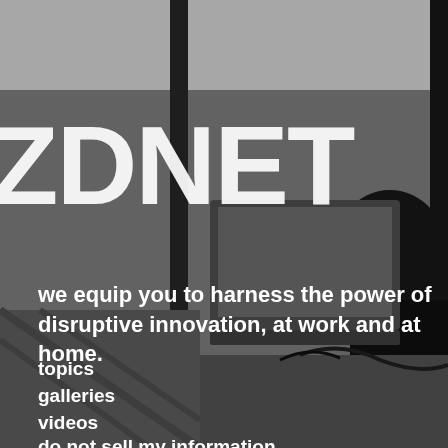[Figure (photo): Black and white photo of people working at laptops/computers in an office or workspace environment, used as background image]
ZDNET
we equip you to harness the power of disruptive innovation, at work and at home.
topics
galleries
videos
do not sell my information